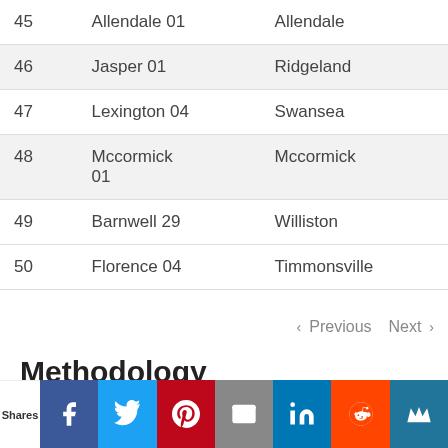| # | Name | City |
| --- | --- | --- |
| 45 | Allendale 01 | Allendale |
| 46 | Jasper 01 | Ridgeland |
| 47 | Lexington 04 | Swansea |
| 48 | Mccormick 01 | Mccormick |
| 49 | Barnwell 29 | Williston |
| 50 | Florence 04 | Timmonsville |
Methodology
The following variables contributed to